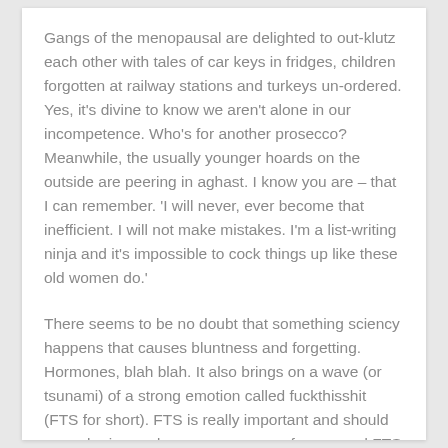Gangs of the menopausal are delighted to out-klutz each other with tales of car keys in fridges, children forgotten at railway stations and turkeys un-ordered. Yes, it’s divine to know we aren’t alone in our incompetence. Who’s for another prosecco? Meanwhile, the usually younger hoards on the outside are peering in aghast. I know you are – that I can remember. ‘I will never, ever become that inefficient. I will not make mistakes. I’m a list-writing ninja and it’s impossible to cock things up like these old women do.’
There seems to be no doubt that something sciency happens that causes bluntness and forgetting. Hormones, blah blah. It also brings on a wave (or tsunami) of a strong emotion called fuckthisshit (FTS for short). FTS is really important and should never be ignored – consequences of repressed FTS can be